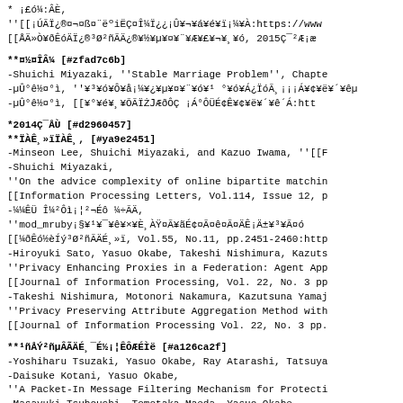* ¡£ó¼:ÂÈ,
''[[¡ÚÃÏ¿®¤¬¤ß¤¨ëºiËÇ¤Î¼Ï¿¿¡Û¥¬¥á¥é¥ï¡¼¥À:https://www
[[ÅÄ»Ò¥ðÊóÄÏ¿®³Ø²ñÃÄ¿®¥½¥µ¥¤¥¨¥Æ¥£¥¬¥¸¥ó, 2015Ç¯²Æ¡æ
**¤½¤ÎÂ¼ [#zfad7c6b]
-Shuichi Miyazaki, ''Stable Marriage Problem'', Chapte
-µÛ°ê½¤°ì, ''¥³¥ó¥Ô¥å¡¼¥¿¥µ¥¤¥¨¥ó¥¹ °¥ó¥Á¿ÏóÃ¸¡¡¡Á¥¢¥ë¥´¥êµ
-µÛ°ê½¤°ì, [[¥°¥é¥¸¥ÕÃÏŻͿÆðÔÇ ¡Á°ÔÜÉ¢Ê¥¢¥ë¥´¥ê´Á:htt
*2014Ç¯ÅÙ [#d2960457]
**ÏÀÊ¸»ïÏÀÊ¸, [#ya9e2451]
-Minseon Lee, Shuichi Miyazaki, and Kazuo Iwama, ''[[F
-Shuichi Miyazaki,
''On the advice complexity of online bipartite matchin
[[Information Processing Letters, Vol.114, Issue 12, p
-¼¼ÊÜ Î¼²Ôì¡¦²¬Éô ¼÷ÃÄ,
''mod_mruby¡§¥¹¥¯¥ê¥×¥È¸ÀŸ¤Ã¥ãÉ¢¤Ã¤ê¤Ã¤ÄÊ¡Ä±¥³¥Ã¤ó
[[¼ðÊó½èÍý³Ø²ñÃÄÉ¸»ï, Vol.55, No.11, pp.2451-2460:http
-Hiroyuki Sato, Yasuo Okabe, Takeshi Nishimura, Kazuts
''Privacy Enhancing Proxies in a Federation: Agent App
[[Journal of Information Processing, Vol. 22, No. 3 pp
-Takeshi Nishimura, Motonori Nakamura, Kazutsuna Yamaj
''Privacy Preserving Attribute Aggregation Method with
[[Journal of Information Processing Vol. 22, No. 3 pp.
**¹ñÅÝ²ñµÂÃÄÉ¸¯É½¡¦ÊÔÆÉÌë [#a126ca2f]
-Yoshiharu Tsuzaki, Yasuo Okabe, Ray Atarashi, Tatsuya
-Daisuke Kotani, Yasuo Okabe,
''A Packet-In Message Filtering Mechanism for Protecti
-Masayuki Tsubouchi, Tomotaka Maeda, Yasuo Okabe,